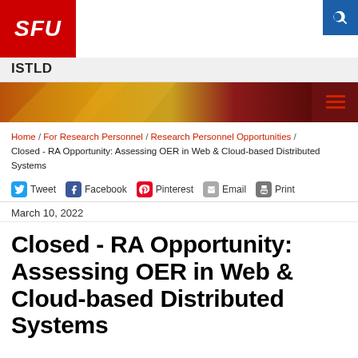SFU ISTLD
Home / For Research Personnel / Research Personnel Opportunities / Closed - RA Opportunity: Assessing OER in Web & Cloud-based Distributed Systems
Tweet Facebook Pinterest Email Print
March 10, 2022
Closed - RA Opportunity: Assessing OER in Web & Cloud-based Distributed Systems